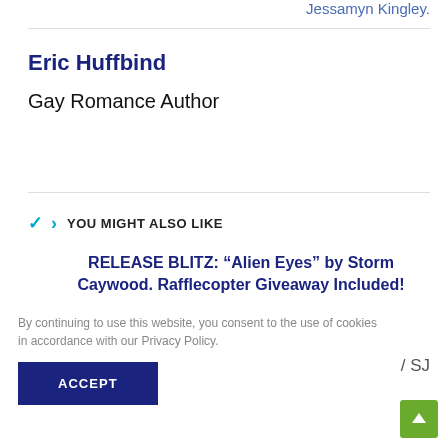Jessamyn Kingley.
Eric Huffbind
Gay Romance Author
YOU MIGHT ALSO LIKE
RELEASE BLITZ: “Alien Eyes” by Storm Caywood. Rafflecopter Giveaway Included!
June 27, 2020
By continuing to use this website, you consent to the use of cookies in accordance with our Privacy Policy.
/ SJ
ACCEPT